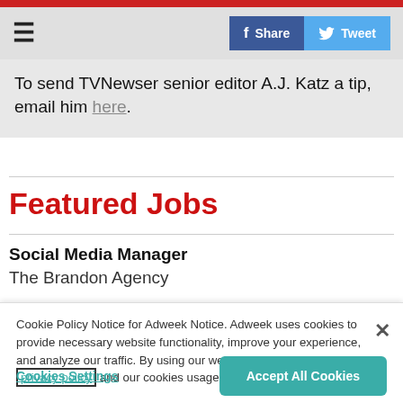≡  [Share] [Tweet]
To send TVNewser senior editor A.J. Katz a tip, email him here.
Featured Jobs
Social Media Manager
The Brandon Agency
Cookie Policy Notice for Adweek Notice. Adweek uses cookies to provide necessary website functionality, improve your experience, and analyze our traffic. By using our website, you agree to our privacy policy and our cookies usage.
Cookies Settings   Accept All Cookies